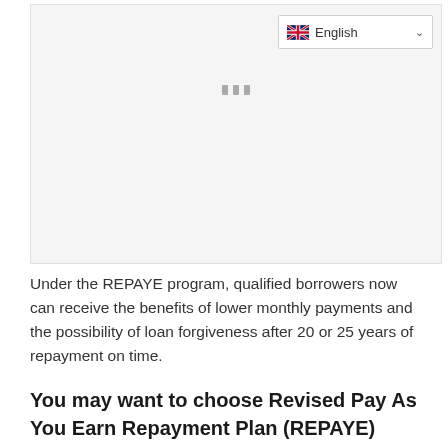[Figure (screenshot): A webpage screenshot area showing a language selector dropdown with English and UK flag at top right, and a loading placeholder (three gray bars) in the center of a light gray content area.]
Under the REPAYE program, qualified borrowers now can receive the benefits of lower monthly payments and the possibility of loan forgiveness after 20 or 25 years of repayment on time.
You may want to choose Revised Pay As You Earn Repayment Plan (REPAYE)